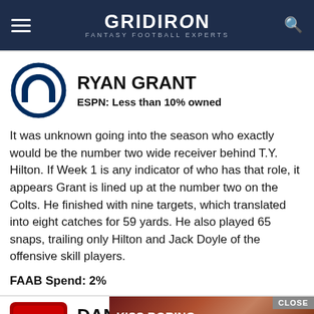GRIDIRON FANTASY FOOTBALL EXPERTS
RYAN GRANT
ESPN: Less than 10% owned
It was unknown going into the season who exactly would be the number two wide receiver behind T.Y. Hilton. If Week 1 is any indicator of who has that role, it appears Grant is lined up at the number two on the Colts. He finished with nine targets, which translated into eight catches for 59 yards. He also played 65 snaps, trailing only Hilton and Jack Doyle of the offensive skill players.
FAAB Spend: 2%
DANTE PETTIS
[Figure (screenshot): Advertisement overlay: KISS BORING LIPS GOODBYE with SHOP NOW and macy's branding]
More...